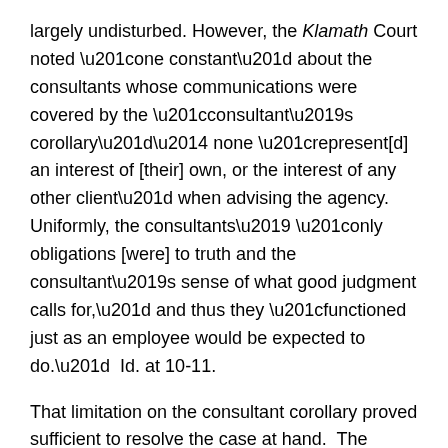largely undisturbed.  However, the Klamath Court noted “one constant” about the consultants whose communications were covered by the “consultant’s corollary”— none “represent[d] an interest of [their] own, or the interest of any other client” when advising the agency. Uniformly, the consultants’ “only obligations [were] to truth and the consultant’s sense of what good judgment calls for,” and thus they “functioned just as an employee would be expected to do.”  Id. at 10-11.
That limitation on the consultant corollary proved sufficient to resolve the case at hand.  The Klamath Court rejected the Department of Interior’s attempt to shield communications between itself and several Indian tribes[7] regarding two matters: (1) a planning effort within the Department of the Interior’s Bureau of Reclamation,